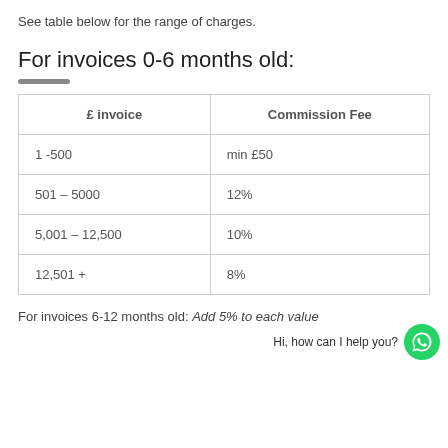See table below for the range of charges.
For invoices 0-6 months old:
| £ invoice | Commission Fee |
| --- | --- |
| 1 -500 | min £50 |
| 501 – 5000 | 12% |
| 5,001 – 12,500 | 10% |
| 12,501 + | 8% |
For invoices 6-12 months old:  Add 5% to each value